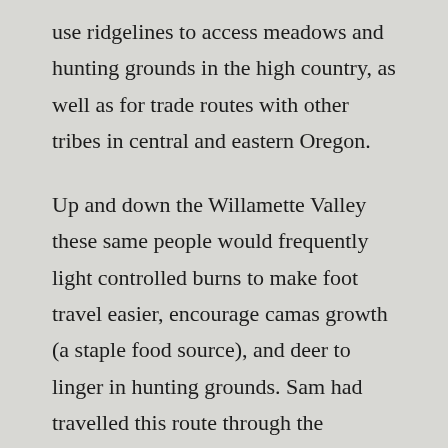use ridgelines to access meadows and hunting grounds in the high country, as well as for trade routes with other tribes in central and eastern Oregon.
Up and down the Willamette Valley these same people would frequently light controlled burns to make foot travel easier, encourage camas growth (a staple food source), and deer to linger in hunting grounds. Sam had travelled this route through the Clackamas River watershed once before and agreed to take Abbot's whole outfit along the treacherous passage. This route is named in honor of Sam